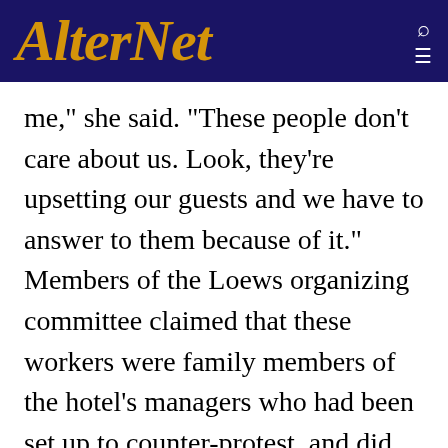AlterNet
me," she said. "These people don't care about us. Look, they're upsetting our guests and we have to answer to them because of it." Members of the Loews organizing committee claimed that these workers were family members of the hotel's managers who had been set up to counter-protest, and did not represent the majority of workers' sentiments.

The conflict at Loews Santa Monica Beach Hotel is part of a much larger politicized